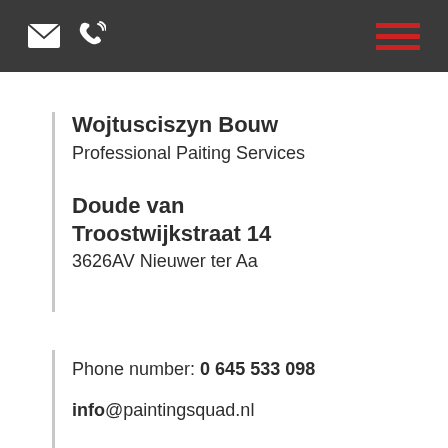[Figure (other): Dark header bar with email envelope icon, phone icon, and red hamburger menu icon on the right]
Wojtusciszyn Bouw
Professional Paiting Services
Doude van Troostwijkstraat 14
3626AV Nieuwer ter Aa
Phone number: 0 645 533 098
info@paintingsquad.nl
KvK: 34270135
BTW: NL003446317B06